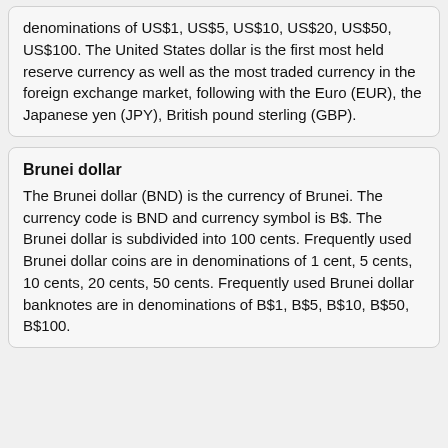denominations of US$1, US$5, US$10, US$20, US$50, US$100. The United States dollar is the first most held reserve currency as well as the most traded currency in the foreign exchange market, following with the Euro (EUR), the Japanese yen (JPY), British pound sterling (GBP).
Brunei dollar
The Brunei dollar (BND) is the currency of Brunei. The currency code is BND and currency symbol is B$. The Brunei dollar is subdivided into 100 cents. Frequently used Brunei dollar coins are in denominations of 1 cent, 5 cents, 10 cents, 20 cents, 50 cents. Frequently used Brunei dollar banknotes are in denominations of B$1, B$5, B$10, B$50, B$100.